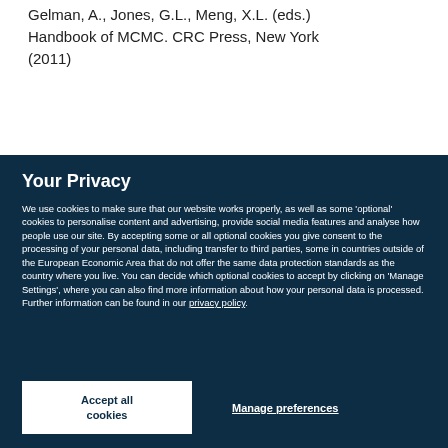Gelman, A., Jones, G.L., Meng, X.L. (eds.) Handbook of MCMC. CRC Press, New York (2011)
Your Privacy
We use cookies to make sure that our website works properly, as well as some ‘optional’ cookies to personalise content and advertising, provide social media features and analyse how people use our site. By accepting some or all optional cookies you give consent to the processing of your personal data, including transfer to third parties, some in countries outside of the European Economic Area that do not offer the same data protection standards as the country where you live. You can decide which optional cookies to accept by clicking on ‘Manage Settings’, where you can also find more information about how your personal data is processed. Further information can be found in our privacy policy.
Accept all cookies
Manage preferences